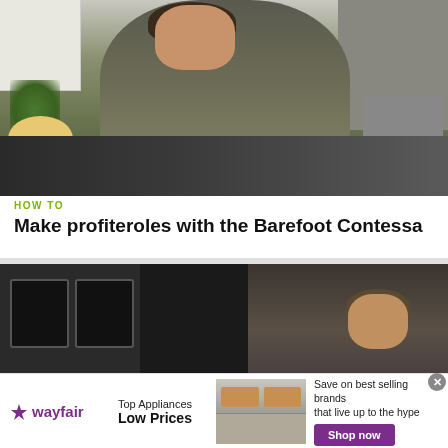[Figure (photo): Woman in olive green top cooking in a kitchen, holding a cloth or dough over a counter with plants, bread, and a stove visible in the background]
HOW TO
Make profiteroles with the Barefoot Contessa
[Figure (screenshot): Person in kitchen with double oven/microwave visible on the left]
[Figure (photo): Wayfair advertisement banner showing a stove/range with text: Top Appliances Low Prices, Save on best selling brands that live up to the hype, Shop now]